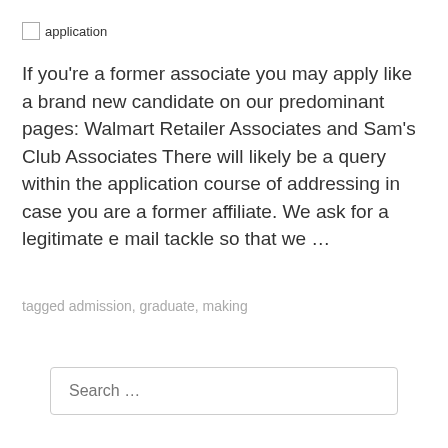[Figure (other): Broken image placeholder labeled 'application']
If you're a former associate you may apply like a brand new candidate on our predominant pages: Walmart Retailer Associates and Sam's Club Associates There will likely be a query within the application course of addressing in case you are a former affiliate. We ask for a legitimate e mail tackle so that we …
tagged admission, graduate, making
Search …